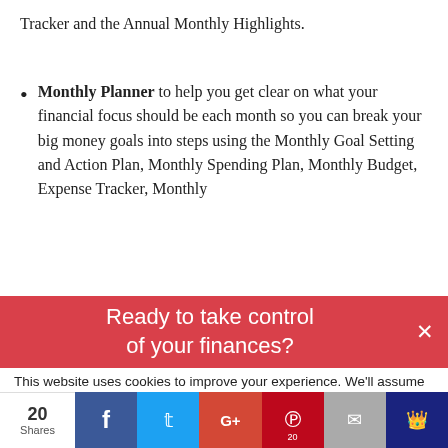Tracker and the Annual Monthly Highlights.
Monthly Planner to help you get clear on what your financial focus should be each month so you can break your big money goals into steps using the Monthly Goal Setting and Action Plan, Monthly Spending Plan, Monthly Budget, Expense Tracker, Monthly
[Figure (screenshot): Red banner overlay reading 'Ready to take control of your finances?' with a close X button]
This website uses cookies to improve your experience. We'll assume you're ok with this, but you can opt-out if
[Figure (infographic): Social share bar with 20 Shares count, Facebook, Twitter, Google+, Pinterest (20), Email, and crown icon buttons]